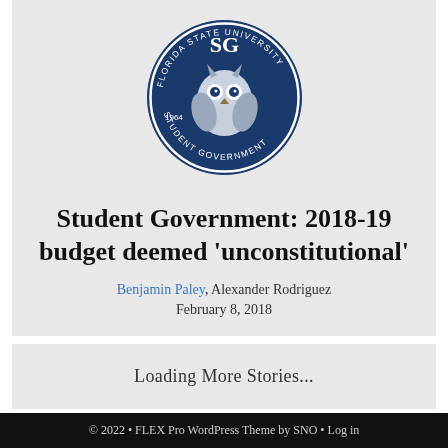[Figure (logo): Florida State University Student Government circular seal/logo with owl and text '1964 Student Government']
Student Government: 2018-19 budget deemed ‘unconstitutional’
Benjamin Paley, Alexander Rodriguez
February 8, 2018
Loading More Stories...
© 2022 • FLEX Pro WordPress Theme by SNO • Log in